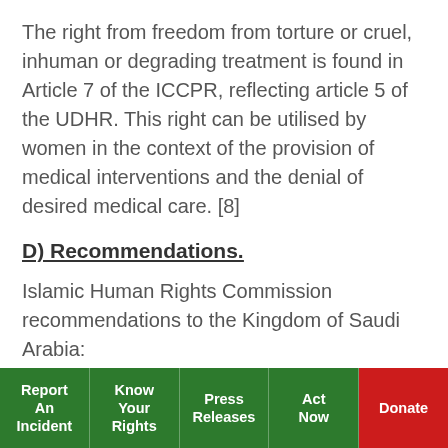The right from freedom from torture or cruel, inhuman or degrading treatment is found in Article 7 of the ICCPR, reflecting article 5 of the UDHR. This right can be utilised by women in the context of the provision of medical interventions and the denial of desired medical care. [8]
D) Recommendations.
Islamic Human Rights Commission recommendations to the Kingdom of Saudi Arabia:
Ratification of International Human Rights instruments
Report An Incident | Know Your Rights | Press Releases | Act Now | Donate